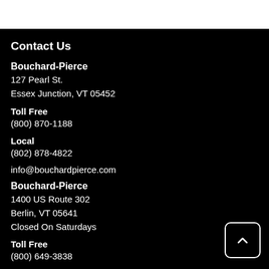Contact Us
Bouchard-Pierce
127 Pearl St.
Essex Junction, VT 05452
Toll Free
(800) 870-1188
Local
(802) 878-4822
info@bouchardpierce.com
Bouchard-Pierce
1400 US Route 302
Berlin, VT 05641
Closed On Saturdays
Toll Free
(800) 649-3838